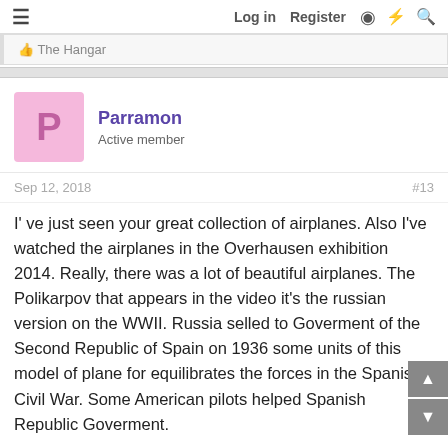Log in   Register
The Hangar
Parramon
Active member
Sep 12, 2018   #13
I've just seen your great collection of airplanes. Also I've watched the airplanes in the Overhausen exhibition 2014. Really, there was a lot of beautiful airplanes. The Polikarpov that appears in the video it's the russian version on the WWII. Russia selled to Goverment of the Second Republic of Spain on 1936 some units of this model of plane for equilibrates the forces in the Spanish Civil War. Some American pilots helped Spanish Republic Goverment.
The Hangar and Seahunter